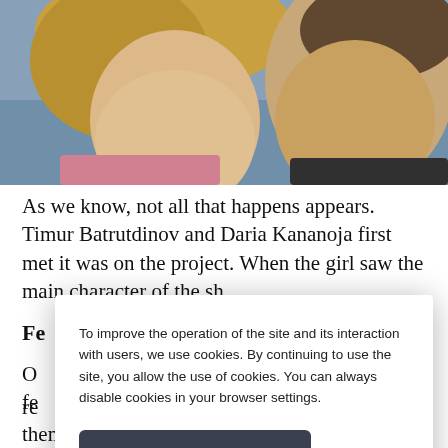[Figure (photo): Close-up photo of two people, a blonde woman on the left and a man on the right, both smiling, outdoors with blue background.]
As we know, not all that happens appears. Timur Batrutdinov and Daria Kananoja first met it was on the project. When the girl saw the main character of the sh... / de... er p... h... ir co...
Fe...
O... s re... r. H... fe... them a reason to talk about it as needimom man, that
To improve the operation of the site and its interaction with users, we use cookies. By continuing to use the site, you allow the use of cookies. You can always disable cookies in your browser settings.
Accept